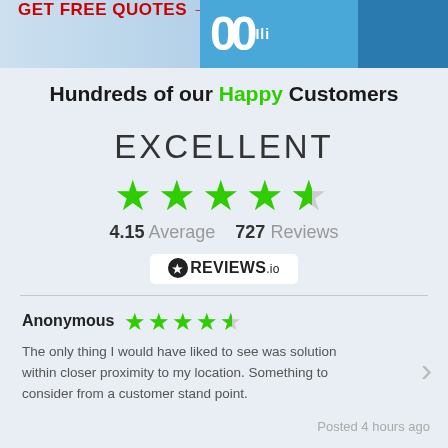GET FREE QUOTES →
Hundreds of our Happy Customers
EXCELLENT
[Figure (infographic): 5-star rating display: 4 filled green stars and 1 partially filled star]
4.15 Average   727 Reviews
[Figure (logo): REVIEWS.io badge with star icon]
Anonymous ★★★★☆
The only thing I would have liked to see was solution within closer proximity to my location. Something to consider from a customer stand point.
Posted 4 hours ago